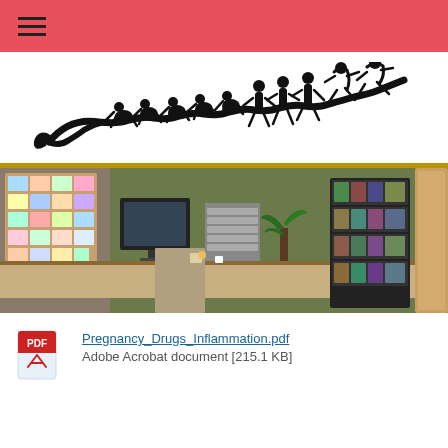Navigation menu (hamburger icon)
[Figure (logo): Lakeland Chiropractic logo featuring a spine silhouette made of human figures transitioning from bent/crawling to upright/jumping, with the text LAKELAND CHIROPRACTIC below]
[Figure (photo): Interior photo of Lakeland Chiropractic office showing a reception desk, bulletin board with photos, computer monitor, filing organizers, and a bookshelf with products, olive green walls and wood-framed doors]
Pregnancy_Drugs_Inflammation.pdf
Adobe Acrobat document [215.1 KB]